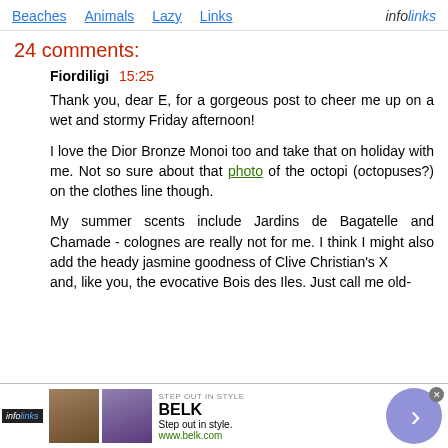Beaches  Animals  Lazy  Links  infolinks
24 comments:
Fiordiligi 15:25
Thank you, dear E, for a gorgeous post to cheer me up on a wet and stormy Friday afternoon!

I love the Dior Bronze Monoi too and take that on holiday with me. Not so sure about that photo of the octopi (octopuses?) on the clothes line though.

My summer scents include Jardins de Bagatelle and Chamade - colognes are really not for me. I think I might also add the heady jasmine goodness of Clive Christian's X and, like you, the evocative Bois des Iles. Just call me old-
[Figure (screenshot): Advertisement banner for BELK - Step out in style. www.belk.com with two product images and navigation arrow button, overlaid by infolinks tag and close button.]